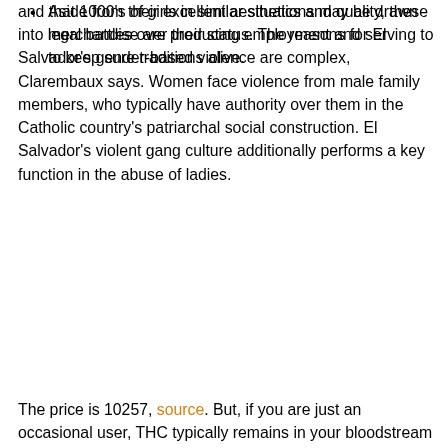and that 1000's of girls in similar situations may be drawn into legal battles over their status. The reasons for El Salvador's gender-based violence are complex, Clarembaux says. Women face violence from male family members, who typically have authority over them in the Catholic country's patriarchal social construction. El Salvador's violent gang culture additionally performs a key function in the abuse of ladies.
Aside from their excellent aesthetics and quality, these merchandise are producing employment and serving to to keep sure traditions alive.
The price is 10257, source. But, if you are just an occasional user, THC typically remains in your bloodstream for only five days. A certified healthcare professional will draw your blood and send your sample to the lab for analysis. A blood test can detect several drugs as well as alcohol and nicotine. But this option is not frequently used for a job drug test; it is mainly used if you are arrested under suspicion of drug use. The hair follicle test is perhaps the most effective and foolproof method to detect all kinds of drug use, including weed. And that is why more and more businesses, government departments, and athletic organizations prefer this method of screening over all others. A hair test can detect substance abuse or drug intakes accurately even after 120 days. But, if you have